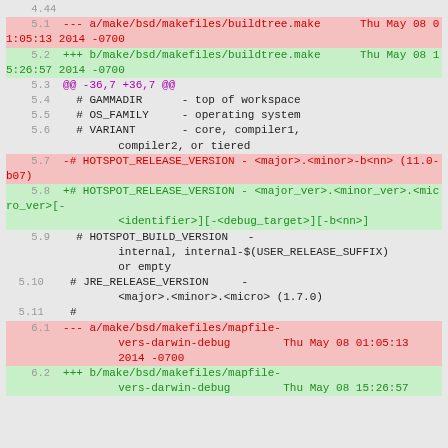4.44
5.1  --- a/make/bsd/makefiles/buildtree.make      Thu May 08 01:05:13 2014 -0700
5.2  +++ b/make/bsd/makefiles/buildtree.make      Thu May 08 15:26:57 2014 -0700
5.3  @@ -36,7 +36,7 @@
5.4    # GAMMADIR      - top of workspace
5.5    # OS_FAMILY     - operating system
5.6    # VARIANT       - core, compiler1, compiler2, or tiered
5.7  -# HOTSPOT_RELEASE_VERSION - <major>.<minor>-b<nn> (11.0-b07)
5.8  +# HOTSPOT_RELEASE_VERSION - <major_ver>.<minor_ver>.<micro_ver>[-<identifier>][-<debug_target>][-b<nn>]
5.9    # HOTSPOT_BUILD_VERSION   - internal, internal-$(USER_RELEASE_SUFFIX) or empty
5.10   # JRE_RELEASE_VERSION     - <major>.<minor>.<micro> (1.7.0)
5.11   #
6.1  --- a/make/bsd/makefiles/mapfile-vers-darwin-debug      Thu May 08 01:05:13 2014 -0700
6.2  +++ b/make/bsd/makefiles/mapfile-vers-darwin-debug      Thu May 08 15:26:57